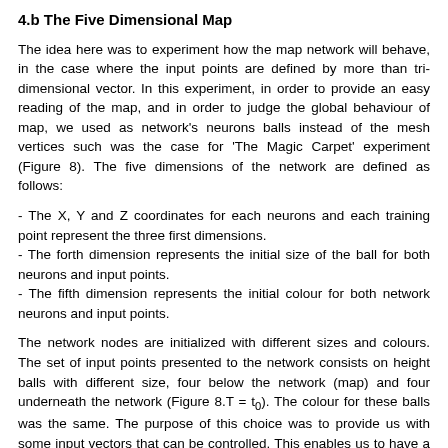4.b The Five Dimensional Map
The idea here was to experiment how the map network will behave, in the case where the input points are defined by more than tri-dimensional vector. In this experiment, in order to provide an easy reading of the map, and in order to judge the global behaviour of map, we used as network's neurons balls instead of the mesh vertices such was the case for 'The Magic Carpet' experiment (Figure 8). The five dimensions of the network are defined as follows:
- The X, Y and Z coordinates for each neurons and each training point represent the three first dimensions.
- The forth dimension represents the initial size of the ball for both neurons and input points.
- The fifth dimension represents the initial colour for both network neurons and input points.
The network nodes are initialized with different sizes and colours. The set of input points presented to the network consists on height balls with different size, four below the network (map) and four underneath the network (Figure 8.T = t₀). The colour for these balls was the same. The purpose of this choice was to provide us with some input vectors that can be controlled. This enables us to have a control over the